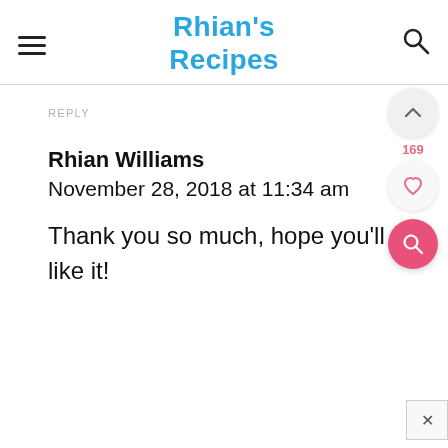Rhian's Recipes
REPLY
Rhian Williams
November 28, 2018 at 11:34 am
Thank you so much, hope you'll like it!